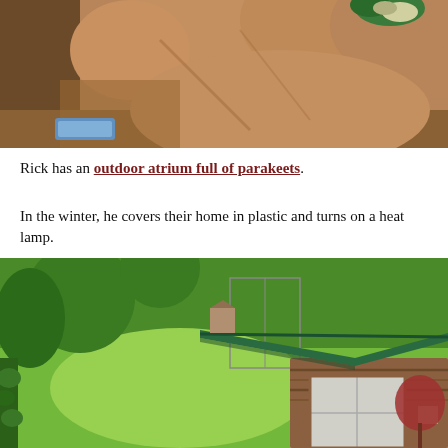[Figure (photo): Close-up photo of a human hand holding something small, with a blurred blue object visible at the bottom left]
Rick has an outdoor atrium full of parakeets.
In the winter, he covers their home in plastic and turns on a heat lamp.
[Figure (photo): Outdoor photo of a small wooden structure with a green metal peaked roof, resembling a bird aviary or small cabin, set in a green grassy yard with trees in the background]